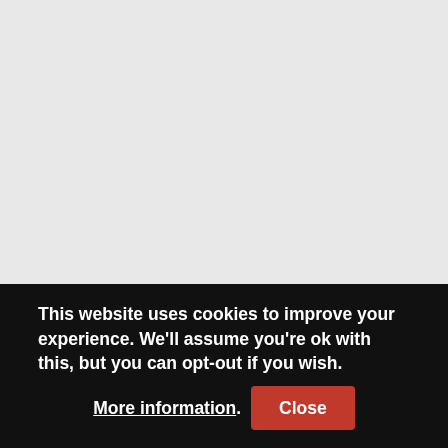[Figure (photo): Large image area (appears blank/grey in this capture) taking up the top portion of the page.]
What better place to spend Christmas than in the home of real Santa Claus himself! The village of Rovaniemi, located in the Arctic Circle, is Santa's official North Pole residence
This website uses cookies to improve your experience. We'll assume you're ok with this, but you can opt-out if you wish. More information. Close